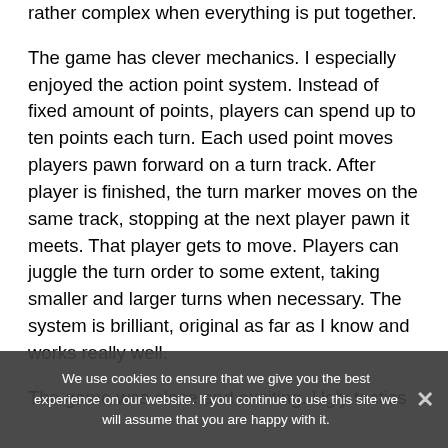rather complex when everything is put together.
The game has clever mechanics. I especially enjoyed the action point system. Instead of fixed amount of points, players can spend up to ten points each turn. Each used point moves players pawn forward on a turn track. After player is finished, the turn marker moves on the same track, stopping at the next player pawn it meets. That player gets to move. Players can juggle the turn order to some extent, taking smaller and larger turns when necessary. The system is brilliant, original as far as I know and works really well.
The game was close and exciting. Ugly tactics
We use cookies to ensure that we give you the best experience on our website. If you continue to use this site we will assume that you are happy with it.